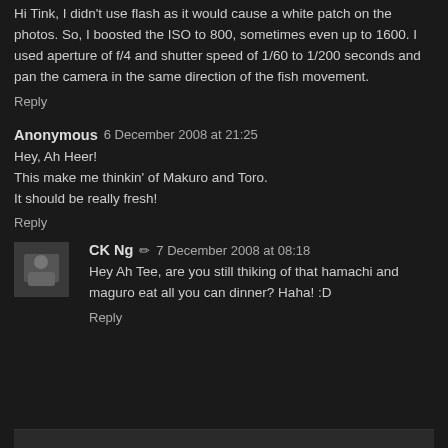Hi Tink, I didn't use flash as it would cause a white patch on the photos. So, I boosted the ISO to 800, sometimes even up to 1600. I used aperture of f/4 and shutter speed of 1/60 to 1/200 seconds and pan the camera in the same direction of the fish movement.
Reply
Anonymous  6 December 2008 at 21:25
Hey, Ah Heer!
This make me thinkin' of Makuro and Toro.
It should be really fresh!
Reply
CK Ng  ✏  7 December 2008 at 08:18
Hey Ah Tee, are you still thiking of that hamachi and maguro eat all you can dinner? Haha! :D
Reply